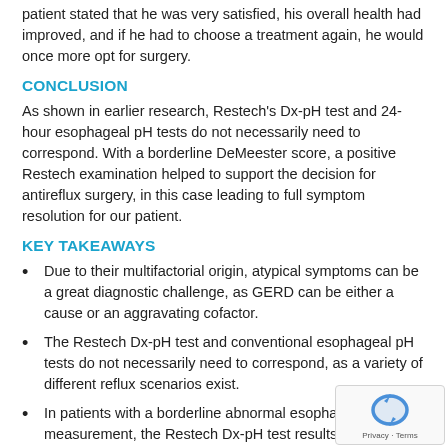patient stated that he was very satisfied, his overall health had improved, and if he had to choose a treatment again, he would once more opt for surgery.
CONCLUSION
As shown in earlier research, Restech's Dx-pH test and 24-hour esophageal pH tests do not necessarily need to correspond. With a borderline DeMeester score, a positive Restech examination helped to support the decision for antireflux surgery, in this case leading to full symptom resolution for our patient.
KEY TAKEAWAYS
Due to their multifactorial origin, atypical symptoms can be a great diagnostic challenge, as GERD can be either a cause or an aggravating cofactor.
The Restech Dx-pH test and conventional esophageal pH tests do not necessarily need to correspond, as a variety of different reflux scenarios exist.
In patients with a borderline abnormal esophageal measurement, the Restech Dx-pH test results can help support the decision for or against laparoscopic antireflux surgery.